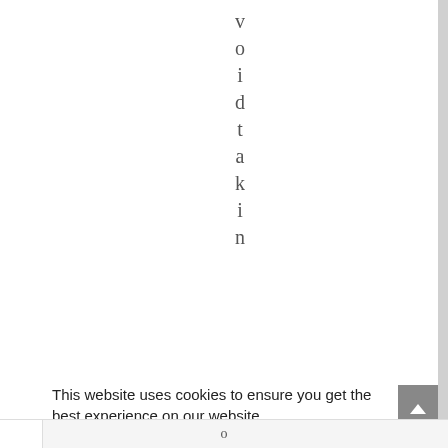v o i d t a k i n
This website uses cookies to ensure you get the best experience on our website.
Learn more
Got it!
o